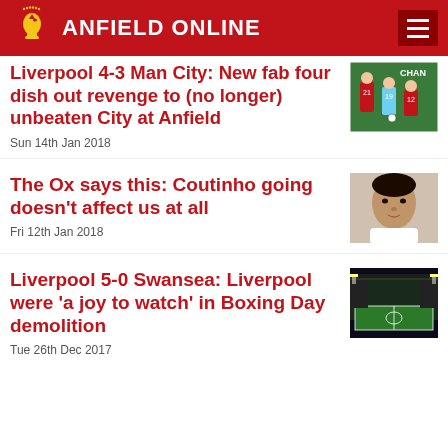ANFIELD ONLINE
Liverpool 4-3 Man City: New fab four dish out revenge to (no longer) unbeaten City at Anfield
Sun 14th Jan 2018
The Ox says this: Coutinho going doesn't affect us at all
Fri 12th Jan 2018
Liverpool 5-0 Swansea: Liverpool were 'a joy to watch' in Boxing Day demolition
Tue 26th Dec 2017